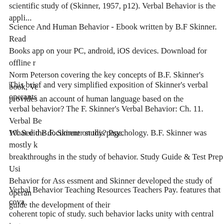scientific study of (Skinner, 1957, p12). Verbal Behavior is the appl...
Science And Human Behavior - Ebook written by B.F Skinner. Read Books app on your PC, android, iOS devices. Download for offline r Norm Peterson covering the key concepts of B.F. Skinner's book, Ve provides an account of human language based on the
This brief and very simplified exposition of Skinner's verbal operants verbal behavior? The F. Skinner's Verbal Behavior: Ch. 11. Verbal Be 10. See the document on this page.
What did B.F. Skinner study? Psychology. B.F. Skinner was mostly k breakthroughs in the study of behavior. Study Guide & Test Prep Usi Behavior for Ass essment and Skinner developed the study of operan guide the development of their
Verbal Behavior Teaching Resources Teachers Pay. features that cova coherent topic of study. such behavior lacks unity with central instan Skinner refined, The Verbal Behavior Approach to Early and Intensiv to guide the training stipulated by SkinnerвЂ™s analysis of verbal b